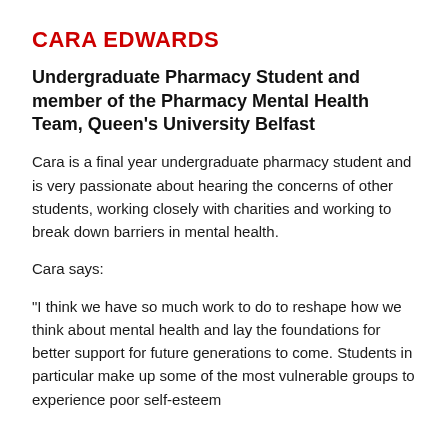CARA EDWARDS
Undergraduate Pharmacy Student and member of the Pharmacy Mental Health Team, Queen's University Belfast
Cara is a final year undergraduate pharmacy student and is very passionate about hearing the concerns of other students, working closely with charities and working to break down barriers in mental health.
Cara says:
"I think we have so much work to do to reshape how we think about mental health and lay the foundations for better support for future generations to come. Students in particular make up some of the most vulnerable groups to experience poor self-esteem